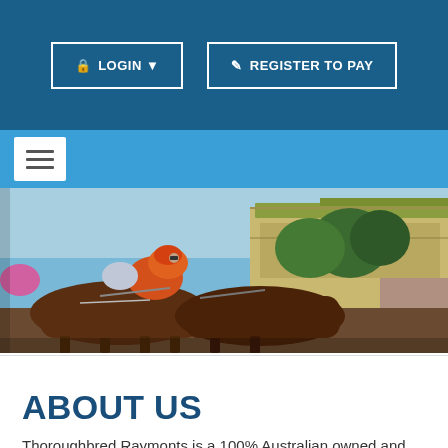[Figure (screenshot): Navigation header with LOGIN and REGISTER TO PAY buttons on dark blue background]
[Figure (screenshot): Blue navigation bar with hamburger menu button]
[Figure (photo): Horse racing photo: jockeys on horses at a racing venue with grandstand in background, clear blue sky]
ABOUT US
Thoroughbred Raymonts is a 100% Australian owned and